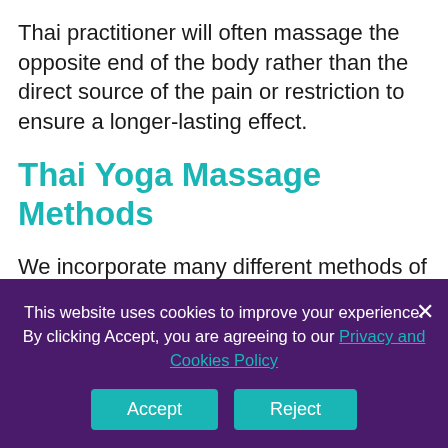Thai practitioner will often massage the opposite end of the body rather than the direct source of the pain or restriction to ensure a longer-lasting effect.
Thai Yoga Massage Methods
We incorporate many different methods of touch and movements into our sessions: we stretch, we press, we rock and we apply traction and articulate. We use our feet, our knees, elbows, shins, forearms and thumbs – in short, there's never a dull moment at the
This website uses cookies to improve your experience. By clicking Accept, you are agreeing to our Privacy and Cookies Policy
Accept
Reject